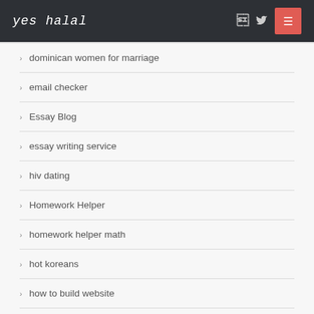yes halal
dominican women for marriage
email checker
Essay Blog
essay writing service
hiv dating
Homework Helper
homework helper math
hot koreans
how to build website
Mail Ordered Wives